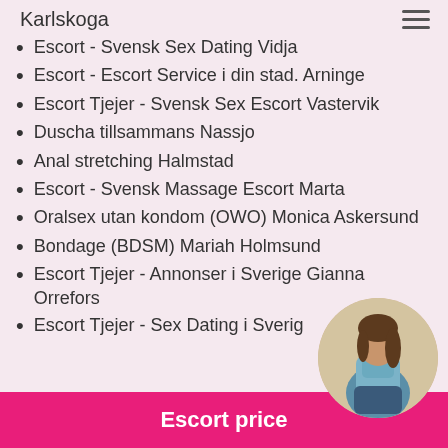Karlskoga
Escort - Svensk Sex Dating Vidja
Escort - Escort Service i din stad. Arninge
Escort Tjejer - Svensk Sex Escort Vastervik
Duscha tillsammans Nassjo
Anal stretching Halmstad
Escort - Svensk Massage Escort Marta
Oralsex utan kondom (OWO) Monica Askersund
Bondage (BDSM) Mariah Holmsund
Escort Tjejer - Annonser i Sverige Gianna Orrefors
Escort Tjejer - Sex Dating i Sverige
Escort price